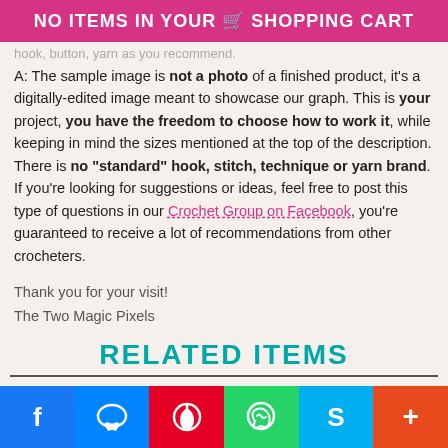NO ITEMS IN YOUR SHOPPING CART
hook, button, yarn as you recommend. A: The sample image is not a photo of a finished product, it's a digitally-edited image meant to showcase our graph. This is your project, you have the freedom to choose how to work it, while keeping in mind the sizes mentioned at the top of the description. There is no "standard" hook, stitch, technique or yarn brand. If you're looking for suggestions or ideas, feel free to post this type of questions in our Crochet Group on Facebook, you're guaranteed to receive a lot of recommendations from other crocheters.
Thank you for your visit!
The Two Magic Pixels
RELATED ITEMS